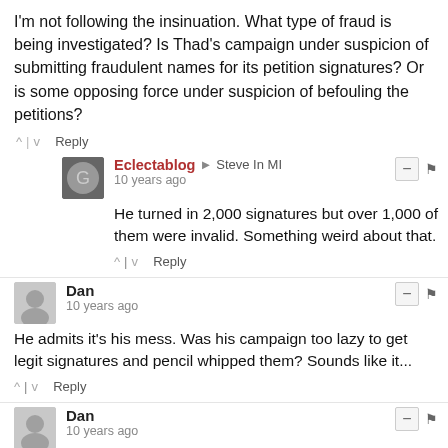I'm not following the insinuation. What type of fraud is being investigated? Is Thad's campaign under suspicion of submitting fraudulent names for its petition signatures? Or is some opposing force under suspicion of befouling the petitions?
^ | v  Reply
Eclectablog → Steve In MI  10 years ago
He turned in 2,000 signatures but over 1,000 of them were invalid. Something weird about that.
^ | v  Reply
Dan  10 years ago
He admits it's his mess. Was his campaign too lazy to get legit signatures and pencil whipped them? Sounds like it...
^ | v  Reply
Dan  10 years ago
He admits it's his mess. Was his campaign too lazy to get